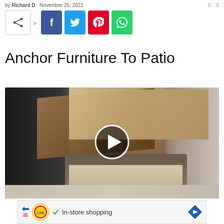by Richard D  November 25, 2021
[Figure (infographic): Social share buttons: share icon box, Facebook (blue), Twitter (cyan), Pinterest (red), WhatsApp (green)]
Anchor Furniture To Patio
[Figure (screenshot): Video thumbnail showing two people removing a cover from patio furniture (wicker chair with beige cushion), with a play button overlay in the center]
[Figure (infographic): Advertisement bar: Lidl logo, checkmark with 'In-store shopping' text, navigation arrow]